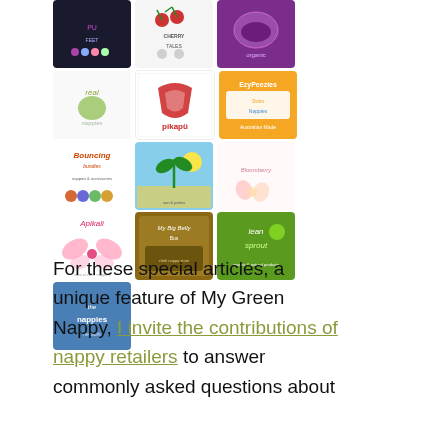[Figure (illustration): Grid of sponsor/retailer logo images arranged in 5 rows of up to 3 logos each. Row 1: purple/dark logo, Cherry Tales logo, purple pot logo. Row 2: Real Nappies/Happies logo, Pikapu logo, EzyPeezies logo. Row 3: Bouncing logo with icons, sun/palm beach logo, Bloomberry logo. Row 4: Apikali butterfly logo, My Big Belly Bus logo, Lean Sprout logo. Row 5: blue nappies logo.]
For these special articles, a unique feature of My Green Nappy, I invite the contributions of nappy retailers to answer commonly asked questions about